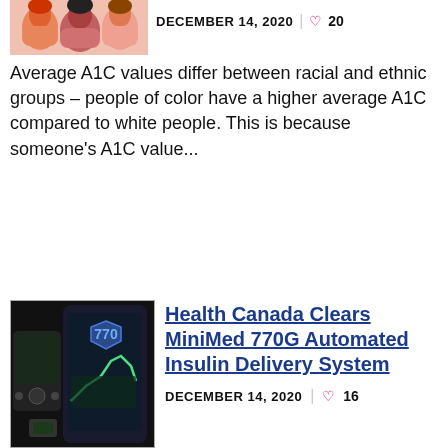[Figure (photo): Illustration of diverse people, partial view at top left]
DECEMBER 14, 2020  ♡ 20
Average A1C values differ between racial and ethnic groups – people of color have a higher average A1C compared to white people. This is because someone's A1C value...
[Figure (photo): Photo of MiniMed 770G insulin pump and smartphone app showing glucose data]
Health Canada Clears MiniMed 770G Automated Insulin Delivery System
DECEMBER 14, 2020  ♡ 16
The MiniMed 770G system automatically delivers basal insulin based on real-time glucose data and is controlled through a smartphone app. The automated insulin delivery...